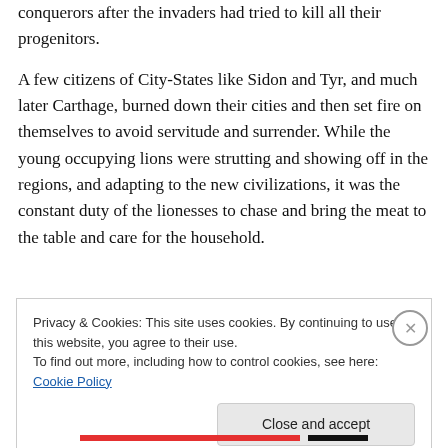conquerors after the invaders had tried to kill all their progenitors.
A few citizens of City-States like Sidon and Tyr, and much later Carthage, burned down their cities and then set fire on themselves to avoid servitude and surrender. While the young occupying lions were strutting and showing off in the regions, and adapting to the new civilizations, it was the constant duty of the lionesses to chase and bring the meat to the table and care for the household.
Privacy & Cookies: This site uses cookies. By continuing to use this website, you agree to their use.
To find out more, including how to control cookies, see here: Cookie Policy
Close and accept